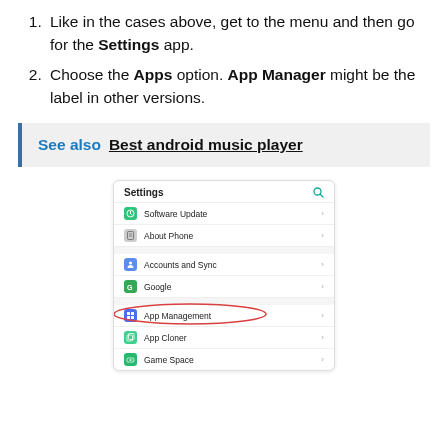Like in the cases above, get to the menu and then go for the Settings app.
Choose the Apps option. App Manager might be the label in other versions.
See also  Best android music player
[Figure (screenshot): Android Settings screen showing menu items: Settings header with search icon, Software Update, About Phone, Accounts and Sync, Google, App Management (circled in red oval), App Cloner, Game Space]